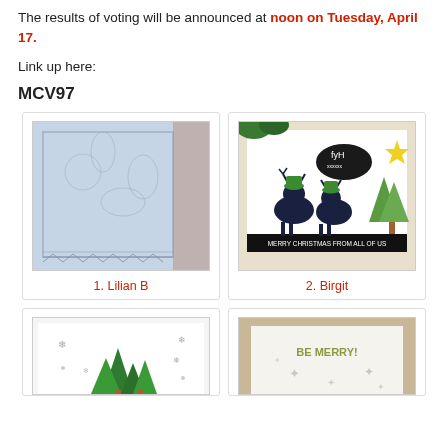The results of voting will be announced at noon on Tuesday, April 17.
Link up here:
MCV97
[Figure (photo): Blue embossed card close-up]
1. Lilian B
[Figure (photo): Christmas card with cartoon reindeer wearing hats and scarves, green trees, speech bubble saying fyH, banner reading MERRY CHRISTMAS FROM ALL OF US]
2. Birgit
[Figure (photo): Christmas card with green pine trees and snowflakes, winter scene]
[Figure (photo): Simple white card with BE MERRY! text in olive/gold and subtle snowflake pattern]